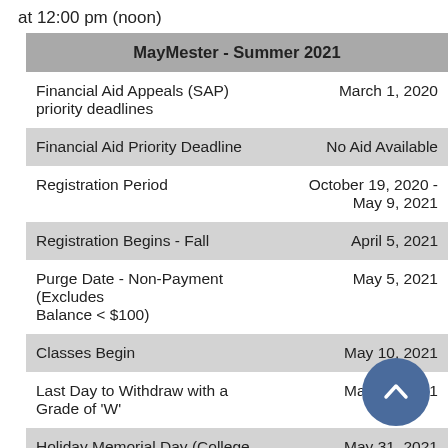at 12:00 pm (noon)
| MayMester - Summer 2021 |  |
| --- | --- |
| Financial Aid Appeals (SAP) priority deadlines | March 1, 2020 |
| Financial Aid Priority Deadline | No Aid Available |
| Registration Period | October 19, 2020 - May 9, 2021 |
| Registration Begins - Fall | April 5, 2021 |
| Purge Date - Non-Payment (Excludes Balance < $100) | May 5, 2021 |
| Classes Begin | May 10, 2021 |
| Last Day to Withdraw with a Grade of 'W' | May 24, 2021 |
| Holiday Memorial Day (College | May 31, 2021 |